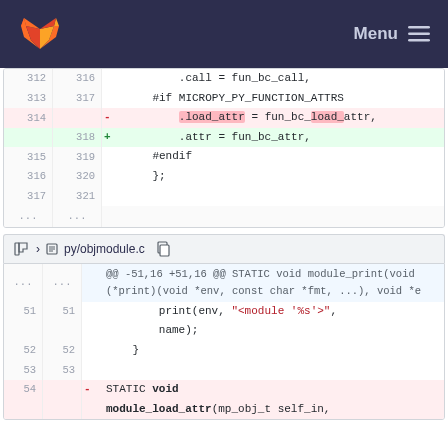GitLab — Menu
[Figure (screenshot): Code diff showing lines 312-321 with a removed line 314 (.load_attr = fun_bc_load_attr,) in red and an added line 318 (.attr = fun_bc_attr,) in green]
py/objmodule.c
[Figure (screenshot): Code diff for py/objmodule.c showing lines 51-54 with hunk header @@ -51,16 +51,16 @@ STATIC void module_print(void (*print)(void *env, const char *fmt, ...), void *e and a removed line 54 starting with STATIC void module_load_attr(mp_obj_t self_in,]